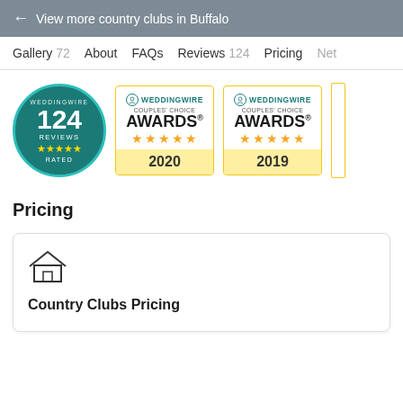← View more country clubs in Buffalo
Gallery 72   About   FAQs   Reviews 124   Pricing   Net…
[Figure (other): WeddingWire badge showing 124 Reviews, 5 stars, Rated]
[Figure (other): WeddingWire Couples Choice Awards 2020, 5 stars]
[Figure (other): WeddingWire Couples Choice Awards 2019, 5 stars]
Pricing
Country Clubs Pricing